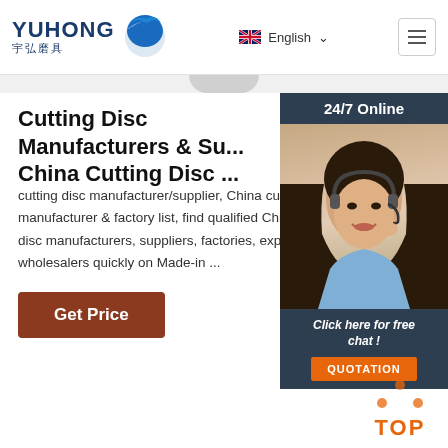YUHONG 宇弘磨具 — English navigation header with hamburger menu
Cutting Disc Manufacturers & Su... China Cutting Disc ...
cutting disc manufacturer/supplier, China cut manufacturer & factory list, find qualified Chi disc manufacturers, suppliers, factories, expo wholesalers quickly on Made-in ...
[Figure (photo): Customer service agent woman with headset smiling, with 24/7 Online badge above and Click here for free chat with QUOTATION button below, dark navy background sidebar widget]
[Figure (infographic): Orange TOP button with dot triangle above the letters, scroll-to-top icon in bottom right]